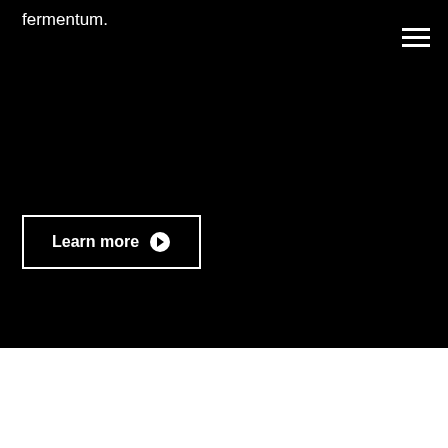fermentum.
[Figure (illustration): Hamburger menu icon with three horizontal white lines on black background, top right corner]
[Figure (illustration): Learn more button with right-arrow circle icon, white border on black background]